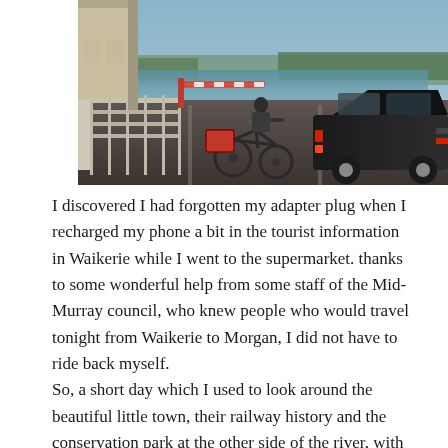[Figure (photo): A ferry or barge deck showing a loaded bicycle with panniers in the center, a dark station wagon/SUV on the right, metal railings on both sides, and a river with a red boom gate barrier visible in the background.]
I discovered I had forgotten my adapter plug when I recharged my phone a bit in the tourist information in Waikerie while I went to the supermarket. thanks to some wonderful help from some staff of the Mid-Murray council, who knew people who would travel tonight from Waikerie to Morgan, I did not have to ride back myself.
So, a short day which I used to look around the beautiful little town, their railway history and the conservation park at the other side of the river, with some nice beaches.